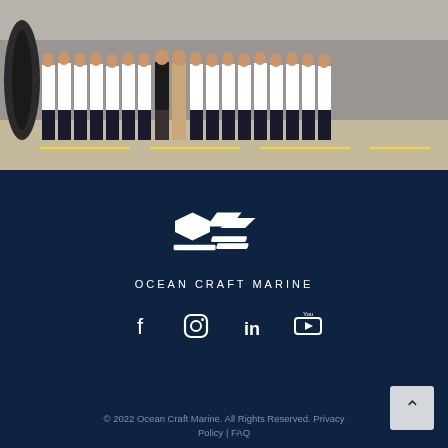[Figure (photo): Group photo of approximately 15-18 people in white shirts and dark pants standing in a row in what appears to be a warehouse or hangar facility with a large tire visible on the left side and yellow lines on the floor]
[Figure (logo): Ocean Craft Marine logo — stylized white X-like chevron mark above the text OCEAN CRAFT MARINE in white spaced capital letters on dark navy background]
[Figure (infographic): Social media icons row: Facebook, Instagram, LinkedIn, YouTube — all white on dark navy background]
© 2022 Ocean Craft Marine. All Rights Reserved. Privacy Policy | FAQ